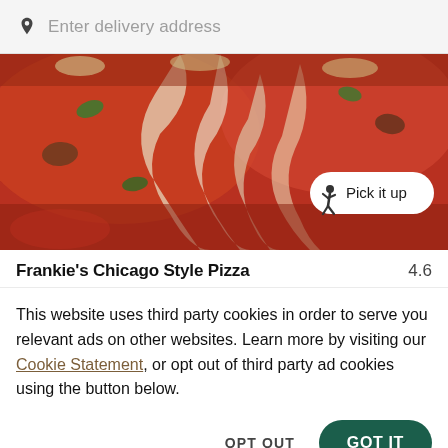Enter delivery address
[Figure (photo): Close-up photo of Chicago deep dish pizza slices with melted cheese pulling, tomato sauce, and toppings, with a 'Pick it up' badge overlay]
Frankie's Chicago Style Pizza   4.6
This website uses third party cookies in order to serve you relevant ads on other websites. Learn more by visiting our Cookie Statement, or opt out of third party ad cookies using the button below.
OPT OUT
GOT IT